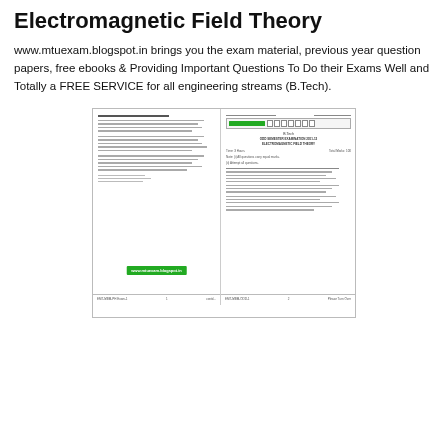Electromagnetic Field Theory
www.mtuexam.blogspot.in brings you the exam material, previous year question papers, free ebooks & Providing Important Questions To Do their Exams Well and Totally a FREE SERVICE for all engineering streams (B.Tech).
[Figure (screenshot): Thumbnail image of an exam paper for Electromagnetic Field Theory (B.Tech) with two pages shown side by side, including a green www.mtuexam.blogspot.in label overlaid in the center.]